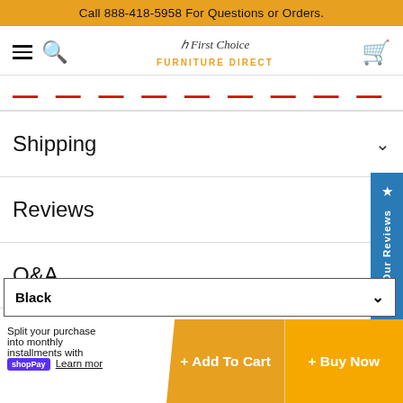Call 888-418-5958 For Questions or Orders.
[Figure (logo): First Choice Furniture Direct logo with hamburger menu, search icon, and cart icon in navigation bar]
— — — — — — — — — (partially visible red dashed section header)
Shipping
Reviews
Q&A
Black
Split your purchase into monthly installments with shop Pay Learn more
+ Add To Cart
+ Buy Now